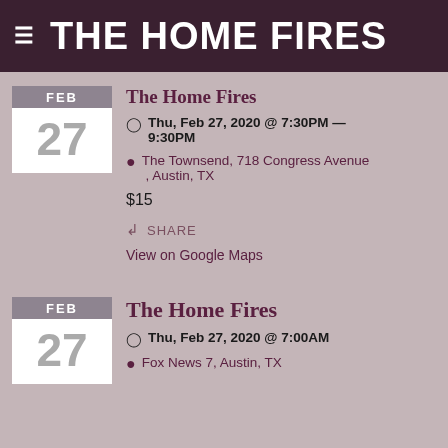THE HOME FIRES
The Home Fires
Thu, Feb 27, 2020 @ 7:30PM — 9:30PM
The Townsend, 718 Congress Avenue , Austin, TX
$15
SHARE
View on Google Maps
The Home Fires
Thu, Feb 27, 2020 @ 7:00AM
Fox News 7, Austin, TX